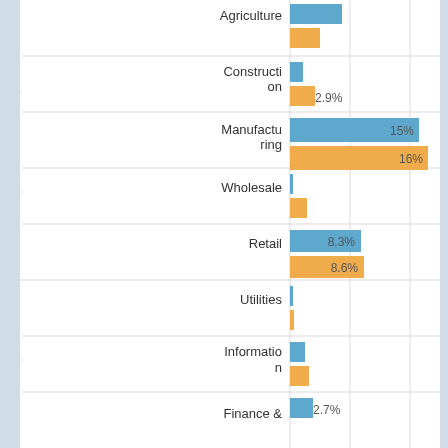[Figure (grouped-bar-chart): Industry share chart (partial)]